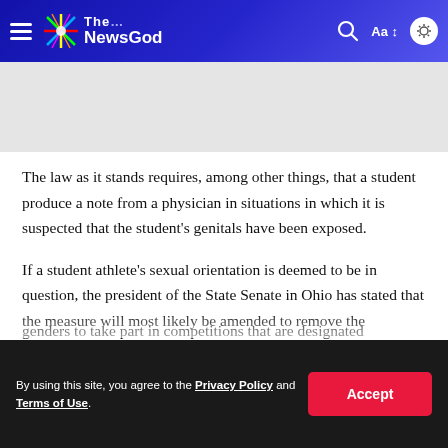The NewsGod
The law as it stands requires, among other things, that a student produce a note from a physician in situations in which it is suspected that the student's genitals have been exposed.
If a student athlete's sexual orientation is deemed to be in question, the president of the State Senate in Ohio has stated that the measure will most likely be amended to remove the requirement that they undergo a genital examination. This would be to the statement made by the president of the Ohio House of Representatives...
genders to take part in competitions that are designated...
By using this site, you agree to the Privacy Policy and Terms of Use.